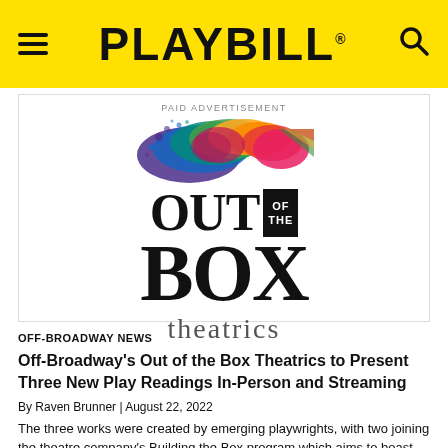PLAYBILL
PAID ADVERTISEMENT
[Figure (logo): Out of the Box Theatrics logo with colorful paint splash above the text]
OFF-BROADWAY NEWS
Off-Broadway's Out of the Box Theatrics to Present Three New Play Readings In-Person and Streaming
By Raven Brunner | August 22, 2022
The three works were created by emerging playwrights, with two joining the theatre company's Building the Box program which aims to boast authentic representation.